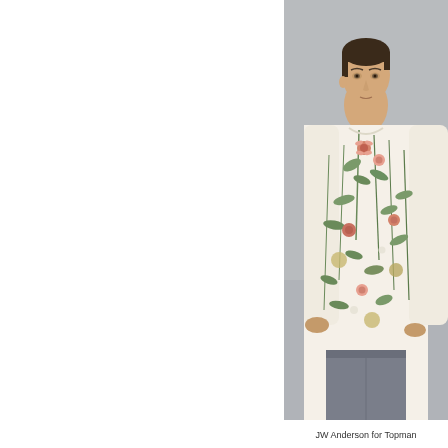[Figure (photo): A young male model wearing a cream/white floral botanical print long-sleeve sweatshirt and grey trousers, photographed against a grey background. The floral print features green leaves and pink/red flowers in a botanical illustration style. The model is shown from upper torso down, looking to the left.]
JW Anderson for Topman